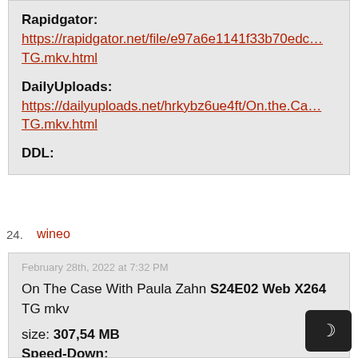Rapidgator: https://rapidgator.net/file/e97a6e1141f33b70edc… TG.mkv.html
DailyUploads: https://dailyuploads.net/hrkybz6ue4ft/On.the.Ca… TG.mkv.html
DDL:
24. wineo
February 28th, 2022 at 7:32 PM
On The Case With Paula Zahn S24E02 Web X264 TG mkv
size: 307,54 MB
Speed-Down: https://down.fast-down.com/g52t78vwnnyj/On.the.Case.with.P… TG.mkv.html